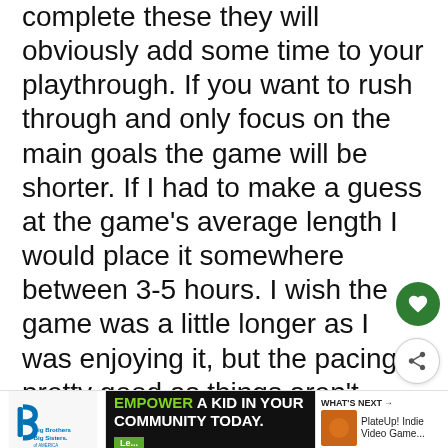complete these they will obviously add some time to your playthrough. If you want to rush through and only focus on the main goals the game will be shorter. If I had to make a guess at the game's average length I would place it somewhere between 3-5 hours. I wish the game was a little longer as I was enjoying it, but the pacing is pretty good as things aren't drawn out just to make the game take longer to complete.
[Figure (other): Advertisement banner: Big Brothers Big Sisters of America logo on left, green-text 'EMPOWER A KID IN YOUR COMMUNITY TODAY.' ad in center-black background, game thumbnail and 'WHAT'S NEXT PlateUp! Indie Video Game...' on right]